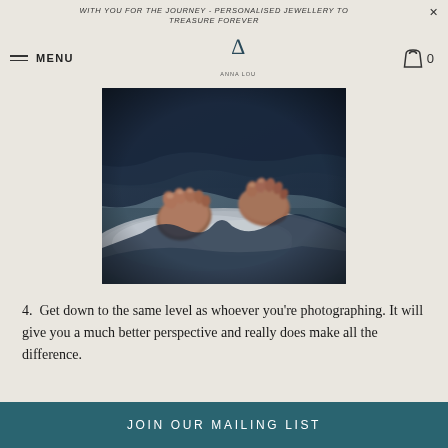WITH YOU FOR THE JOURNEY - PERSONALISED JEWELLERY TO TREASURE FOREVER
MENU
[Figure (photo): Close-up photo of a newborn baby's feet resting on a white pillow, with a blue blanket wrapped around the legs, soft focus background]
4.  Get down to the same level as whoever you’re photographing. It will give you a much better perspective and really does make all the difference.
JOIN OUR MAILING LIST